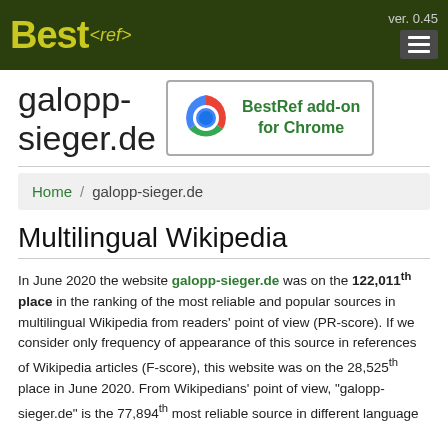Best<ref> ver. 0.45
galopp-sieger.de
[Figure (logo): BestRef add-on for Chrome promotional box with Chrome browser logo icon]
Home / galopp-sieger.de
Multilingual Wikipedia
In June 2020 the website galopp-sieger.de was on the 122,011th place in the ranking of the most reliable and popular sources in multilingual Wikipedia from readers' point of view (PR-score). If we consider only frequency of appearance of this source in references of Wikipedia articles (F-score), this website was on the 28,525th place in June 2020. From Wikipedians' point of view, "galopp-sieger.de" is the 77,894th most reliable source in different language